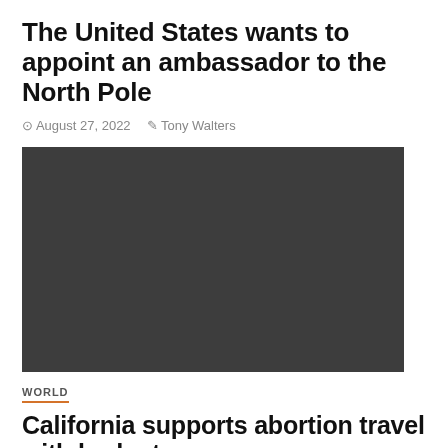The United States wants to appoint an ambassador to the North Pole
August 27, 2022   Tony Walters
[Figure (photo): Dark/black hero image placeholder for article about US appointing ambassador to the North Pole]
WORLD
California supports abortion travel with budget money